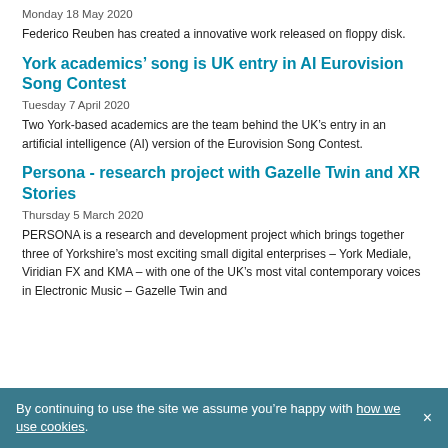Monday 18 May 2020
Federico Reuben has created a innovative work released on floppy disk.
York academics’ song is UK entry in AI Eurovision Song Contest
Tuesday 7 April 2020
Two York-based academics are the team behind the UK’s entry in an artificial intelligence (AI) version of the Eurovision Song Contest.
Persona - research project with Gazelle Twin and XR Stories
Thursday 5 March 2020
PERSONA is a research and development project which brings together three of Yorkshire’s most exciting small digital enterprises – York Mediale, Viridian FX and KMA – with one of the UK’s most vital contemporary voices in Electronic Music – Gazelle Twin and
By continuing to use the site we assume you’re happy with how we use cookies.